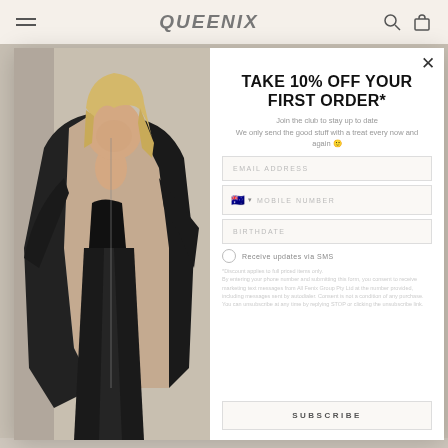QUEENIX
[Figure (photo): Woman wearing black athletic wear and an open oversized puffer jacket with tan/beige lining, posing against a neutral background]
TAKE 10% OFF YOUR FIRST ORDER*
Join the club to stay up to date
We only send the good stuff with a treat every now and again 🙂
EMAIL ADDRESS
MOBILE NUMBER
BIRTHDATE
Receive updates via SMS
*Discount applies to full priced items only.
By entering your phone number and submitting this form, you consent to receive marketing text messages from All Fenix Group Pty Ltd at the number provided, including messages sent by autodialer. Consent is not a condition of any purchase. You can unsubscribe at any time by replying STOP or clicking the unsubscribe link.
SUBSCRIBE